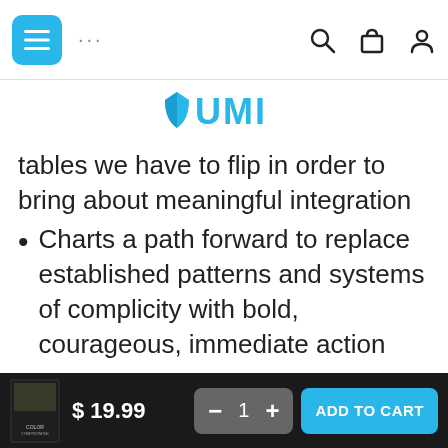UMI navigation bar with menu, search, cart, and user icons
[Figure (logo): UMI logo in cyan/teal color with shield icon]
tables we have to flip in order to bring about meaningful integration
Charts a path forward to replace established patterns and systems of complicity with bold, courageous, immediate action
Is a perfect book for pastors and other faith leaders, students, non-
$ 19.99  −  1  +  ADD TO CART